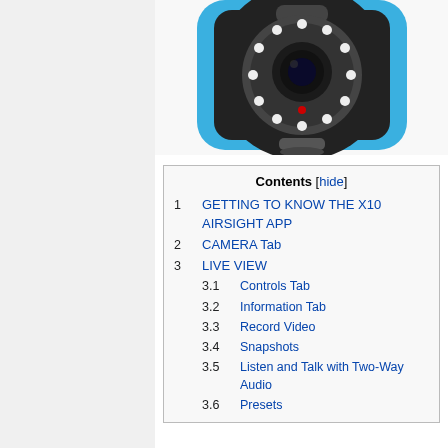[Figure (photo): Black IP/security camera with circular night-vision LED ring around lens, on blue background]
Contents [hide]
1  GETTING TO KNOW THE X10 AIRSIGHT APP
2  CAMERA Tab
3  LIVE VIEW
3.1  Controls Tab
3.2  Information Tab
3.3  Record Video
3.4  Snapshots
3.5  Listen and Talk with Two-Way Audio
3.6  Presets